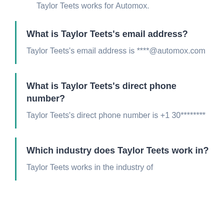Taylor Teets works for Automox.
What is Taylor Teets's email address?
Taylor Teets's email address is ****@automox.com
What is Taylor Teets's direct phone number?
Taylor Teets's direct phone number is +1 30********
Which industry does Taylor Teets work in?
Taylor Teets works in the industry of